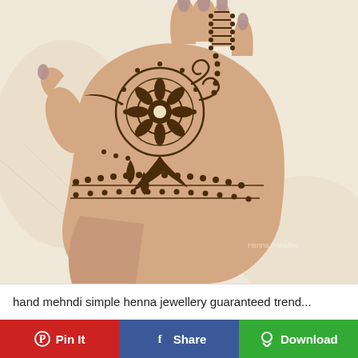[Figure (photo): A hand with henna/mehndi art featuring intricate floral and geometric patterns on the back of the hand and one finger, with nude/mauve colored acrylic nails, resting on a white and gold embroidered fabric.]
hand mehndi simple henna jewellery guaranteed trend...
Pin It
Share
Download